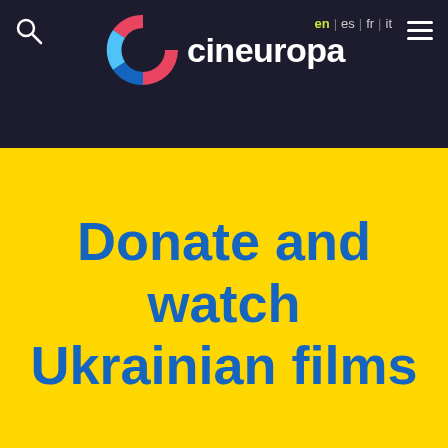cineuropa — en | es | fr | it
[Figure (other): Cineuropa website header with logo (colorful C icon and 'cineuropa' text), search icon, language switcher (en, es, fr, it), and hamburger menu on dark navy background]
Donate and watch Ukrainian films
ADVERTISEMENT